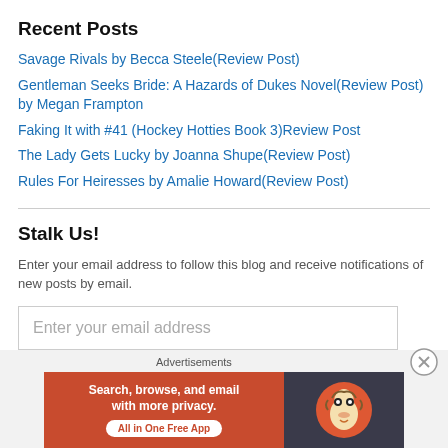Recent Posts
Savage Rivals by Becca Steele(Review Post)
Gentleman Seeks Bride: A Hazards of Dukes Novel(Review Post) by Megan Frampton
Faking It with #41 (Hockey Hotties Book 3)Review Post
The Lady Gets Lucky by Joanna Shupe(Review Post)
Rules For Heiresses by Amalie Howard(Review Post)
Stalk Us!
Enter your email address to follow this blog and receive notifications of new posts by email.
Enter your email address
[Figure (infographic): DuckDuckGo advertisement banner: orange left panel with text 'Search, browse, and email with more privacy. All in One Free App' and DuckDuckGo logo on dark right panel. Labeled 'Advertisements'.]